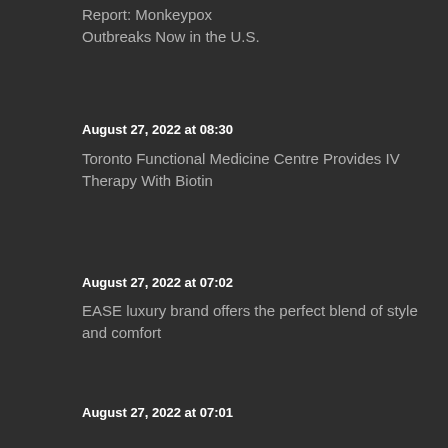Report: Monkeypox Outbreaks Now in the U.S.
August 27, 2022 at 08:30
Toronto Functional Medicine Centre Provides IV Therapy With Biotin
August 27, 2022 at 07:02
EASE luxury brand offers the perfect blend of style and comfort
August 27, 2022 at 07:01
Re-Evolution: NFTs To Stockpile During the Crypto Market Crash